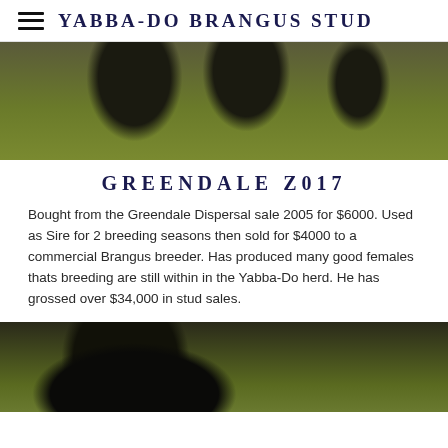YABBA-DO BRANGUS STUD
[Figure (photo): Photograph of black Brangus cattle standing in a green paddock, showing their legs and underside.]
GREENDALE Z017
Bought from the Greendale Dispersal sale 2005 for $6000.  Used as Sire for 2 breeding seasons then sold for $4000 to a commercial Brangus breeder.  Has produced many good females thats breeding are still within in the Yabba-Do herd.  He has grossed over $34,000 in stud sales.
[Figure (photo): Photograph of a black Brangus bull standing in a green paddock.]